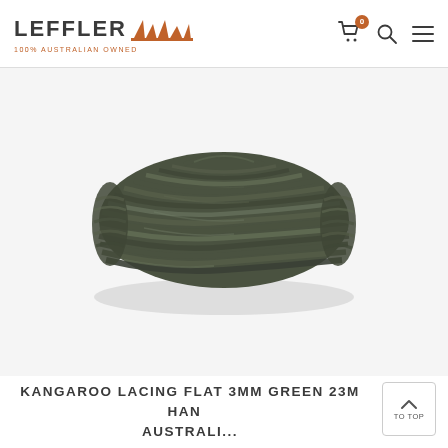LEFFLER — 100% AUSTRALIAN OWNED [logo with navigation icons: cart (0), search, menu]
[Figure (photo): Coiled bundle of flat dark olive/army green kangaroo leather lacing, 3mm wide, laid flat on white background]
KANGAROO LACING FLAT 3MM GREEN 23M HAND AUSTRALI...